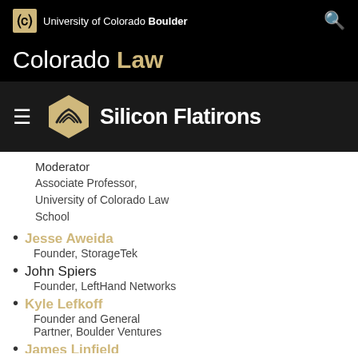University of Colorado Boulder — Colorado Law — Silicon Flatirons
Moderator
Associate Professor, University of Colorado Law School
Jesse Aweida — Founder, StorageTek
John Spiers — Founder, LeftHand Networks
Kyle Lefkoff — Founder and General Partner, Boulder Ventures
James Linfield